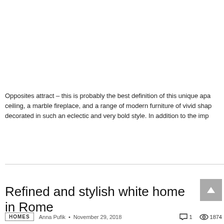Opposites attract – this is probably the best definition of this unique apa ceiling, a marble fireplace, and a range of modern furniture of vivid shap decorated in such an eclectic and very bold style. In addition to the imp
READ MORE
Refined and stylish white home in Rome
HOMES  •  Anna Pufik  •  November 29, 2018  ◯ 1  👁 1874